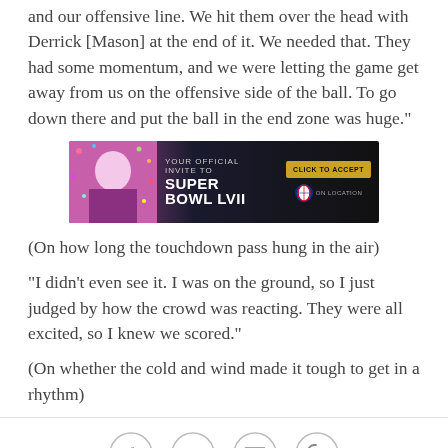and our offensive line. We hit them over the head with Derrick [Mason] at the end of it. We needed that. They had some momentum, and we were letting the game get away from us on the offensive side of the ball. To go down there and put the ball in the end zone was huge."
[Figure (other): Advertisement banner: YOUR OFFICIAL INVITE TO SUPER BOWL LVII — CLICK TO ACCEPT — NFL ON LOCATION, with a woman celebrating against a colorful background]
(On how long the touchdown pass hung in the air)
"I didn't even see it. I was on the ground, so I just judged by how the crowd was reacting. They were all excited, so I knew we scored."
(On whether the cold and wind made it tough to get in a rhythm)
[Figure (other): Social sharing icons: Facebook, Twitter, Email, Link]